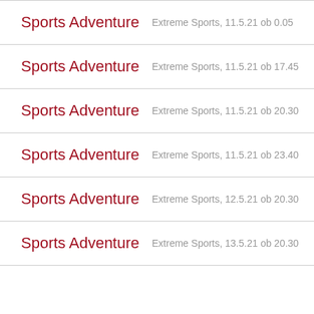Sports Adventure — Extreme Sports, 11.5.21 ob 0.05
Sports Adventure — Extreme Sports, 11.5.21 ob 17.45
Sports Adventure — Extreme Sports, 11.5.21 ob 20.30
Sports Adventure — Extreme Sports, 11.5.21 ob 23.40
Sports Adventure — Extreme Sports, 12.5.21 ob 20.30
Sports Adventure — Extreme Sports, 13.5.21 ob 20.30